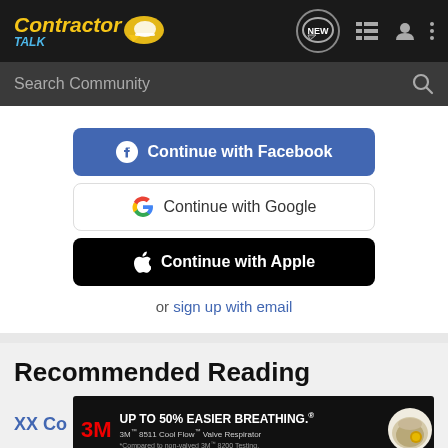ContractorTalk — NEW, list, user, menu icons — Search Community
Continue with Facebook
Continue with Google
Continue with Apple
or sign up with email
Recommended Reading
XX Co
[Figure (advertisement): 3M advertisement: UP TO 50% EASIER BREATHING. 3M 8511 Cool Flow Valve Respirator. *Compared to non-valved 3M 8200 Testing. N95 respirator image on right.]